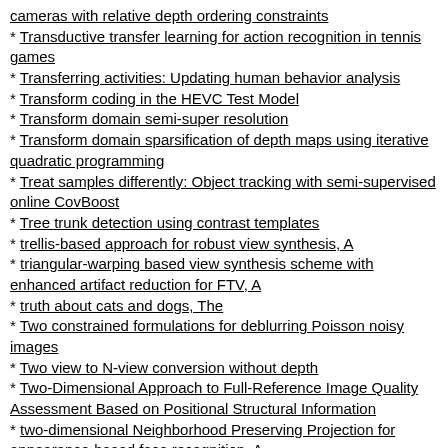cameras with relative depth ordering constraints
* Transductive transfer learning for action recognition in tennis games
* Transferring activities: Updating human behavior analysis
* Transform coding in the HEVC Test Model
* Transform domain semi-super resolution
* Transform domain sparsification of depth maps using iterative quadratic programming
* Treat samples differently: Object tracking with semi-supervised online CovBoost
* Tree trunk detection using contrast templates
* trellis-based approach for robust view synthesis, A
* triangular-warping based view synthesis scheme with enhanced artifact reduction for FTV, A
* truth about cats and dogs, The
* Two constrained formulations for deblurring Poisson noisy images
* Two view to N-view conversion without depth
* Two-Dimensional Approach to Full-Reference Image Quality Assessment Based on Positional Structural Information
* two-dimensional Neighborhood Preserving Projection for appearance-based face recognition, A
* Two-phase approach for multi-view object extraction
* Two-stage method for salt-and-pepper noise removal using